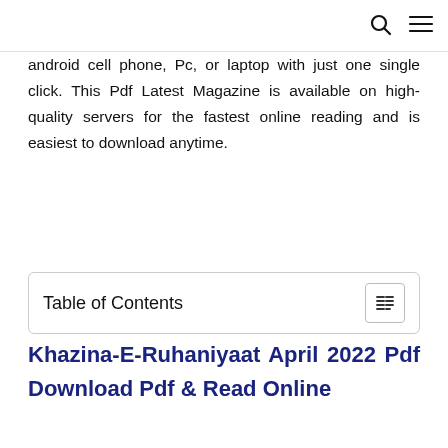🔍 ☰
android cell phone, Pc, or laptop with just one single click. This Pdf Latest Magazine is available on high-quality servers for the fastest online reading and is easiest to download anytime.
Table of Contents
Khazina-E-Ruhaniyaat April 2022 Pdf Download Pdf & Read Online